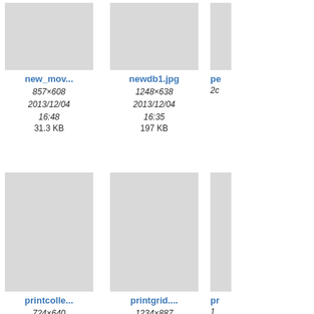[Figure (screenshot): File browser thumbnail grid showing image files with names, dimensions, dates, and file sizes. Row 1: new_mov... (857×608, 2013/12/04 16:48, 31.3 KB), newdb1.jpg (1248×638, 2013/12/04 16:35, 197 KB), partial third item. Row 2: printcolle... (724×640, 2013/12/05 13:29, 137.9 KB), printgrid.... (1234×887, 2013/12/05 13:29, 200.6 KB), partial third item. Row 3: prot_db_... , prot_db_..., partial third item — all partially visible at bottom.]